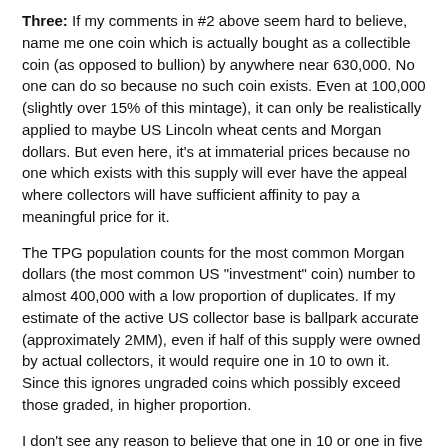Three: If my comments in #2 above seem hard to believe, name me one coin which is actually bought as a collectible coin (as opposed to bullion) by anywhere near 630,000. No one can do so because no such coin exists. Even at 100,000 (slightly over 15% of this mintage), it can only be realistically applied to maybe US Lincoln wheat cents and Morgan dollars. But even here, it's at immaterial prices because no one which exists with this supply will ever have the appeal where collectors will have sufficient affinity to pay a meaningful price for it.
The TPG population counts for the most common Morgan dollars (the most common US "investment" coin) number to almost 400,000 with a low proportion of duplicates. If my estimate of the active US collector base is ballpark accurate (approximately 2MM), even if half of this supply were owned by actual collectors, it would require one in 10 to own it. Since this ignores ungraded coins which possibly exceed those graded, in higher proportion.
I don't see any reason to believe that one in 10 or one in five US collectors own one of these coins. This should make it evident that there is equally no prospect for the silver KR to be mostly owned by actual collectors either. This is necessary because non-collectors have no affinity for the silver KR whatsoever as a collectible and will sell it on any noticeable price increase, as I expect them to do eventually when it